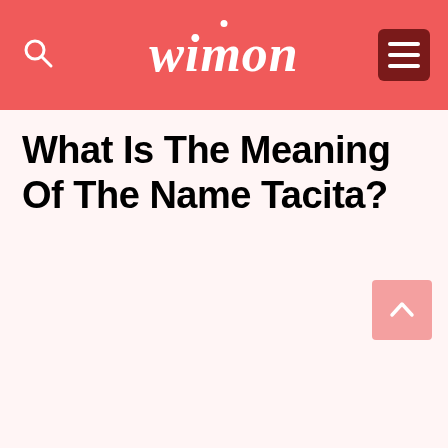wimon
What Is The Meaning Of The Name Tacita?